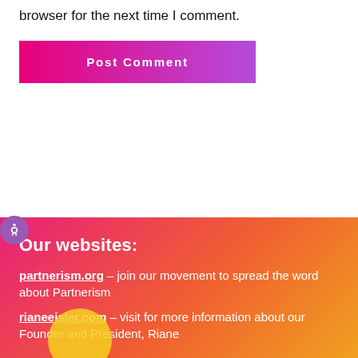browser for the next time I comment.
[Figure (other): Post Comment button with pink-to-purple gradient background]
[Figure (other): Accessibility icon - purple circle with person figure]
Our websites:
partnerism.org – join our movement to spread the word about Partnerism
rianeeisler.com – visit for more information about our Founder and President, Riane